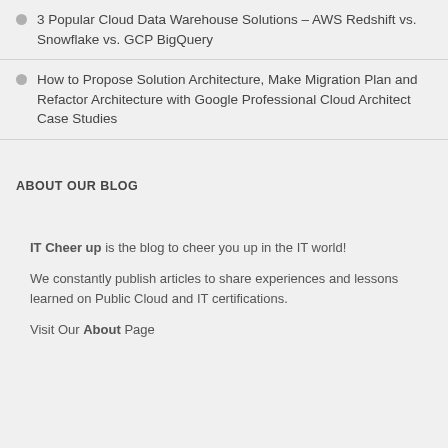3 Popular Cloud Data Warehouse Solutions – AWS Redshift vs. Snowflake vs. GCP BigQuery
How to Propose Solution Architecture, Make Migration Plan and Refactor Architecture with Google Professional Cloud Architect Case Studies
ABOUT OUR BLOG
IT Cheer up is the blog to cheer you up in the IT world!
We constantly publish articles to share experiences and lessons learned on Public Cloud and IT certifications.
Visit Our About Page